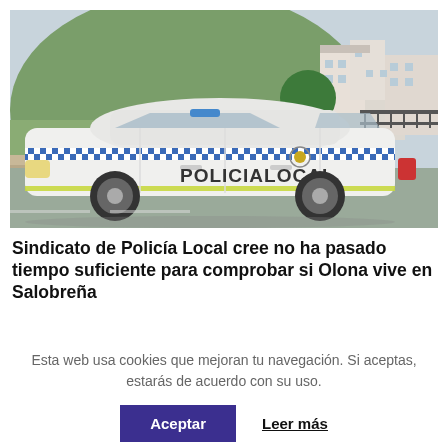[Figure (photo): A white Policía Local SUV patrol car with blue checkered stripe parked on a street, with a hillside residential area and buildings in the background.]
Sindicato de Policía Local cree no ha pasado tiempo suficiente para comprobar si Olona vive en Salobreña
Esta web usa cookies que mejoran tu navegación. Si aceptas, estarás de acuerdo con su uso.
Aceptar | Leer más